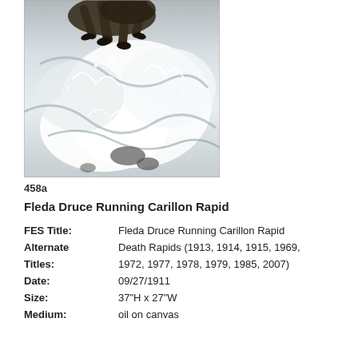[Figure (photo): A painting of horses and figures running through churning white water rapids, viewed from above at close range. Dark animal legs and hooves are visible among dramatic swirling white foam and grey water.]
458a
Fleda Druce Running Carillon Rapid
| FES Title: | Fleda Druce Running Carillon Rapid |
| Alternate Titles: | Death Rapids (1913, 1914, 1915, 1969, 1972, 1977, 1978, 1979, 1985, 2007) |
| Date: | 09/27/1911 |
| Size: | 37"H x 27"W |
| Medium: | oil on canvas |